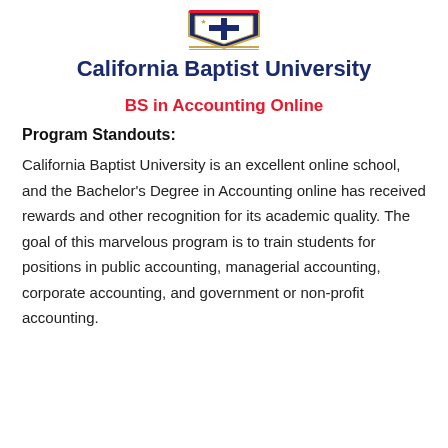[Figure (logo): California Baptist University shield/crest logo in blue, gold, and red]
California Baptist University
BS in Accounting Online
Program Standouts:
California Baptist University is an excellent online school, and the Bachelor’s Degree in Accounting online has received rewards and other recognition for its academic quality. The goal of this marvelous program is to train students for positions in public accounting, managerial accounting, corporate accounting, and government or non-profit accounting.